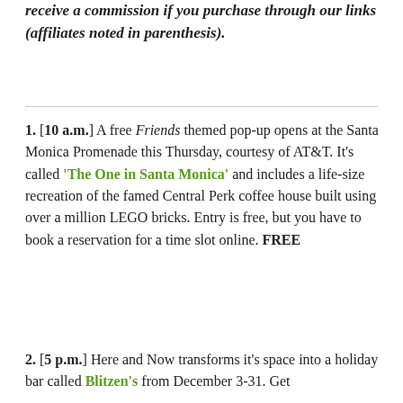receive a commission if you purchase through our links (affiliates noted in parenthesis).
1. [10 a.m.] A free Friends themed pop-up opens at the Santa Monica Promenade this Thursday, courtesy of AT&T. It's called 'The One in Santa Monica' and includes a life-size recreation of the famed Central Perk coffee house built using over a million LEGO bricks. Entry is free, but you have to book a reservation for a time slot online. FREE
2. [5 p.m.] Here and Now transforms it's space into a holiday bar called Blitzen's from December 3-31. Get